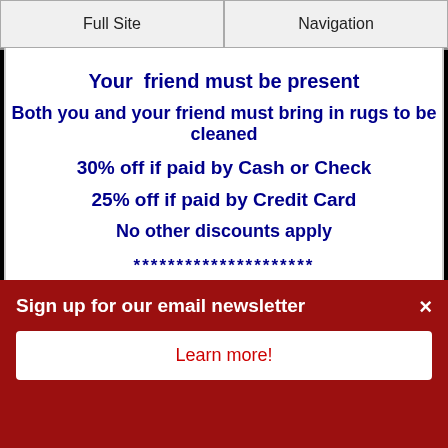Full Site | Navigation
Your friend must be present
Both you and your friend must bring in rugs to be cleaned
30% off if paid by Cash or Check
25% off if paid by Credit Card
No other discounts apply
*********************
COME ON IN
DON'T MISS THIS ONE!!!!
Sign up for our email newsletter
Learn more!